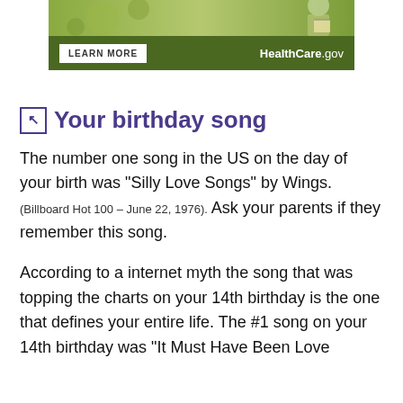[Figure (other): HealthCare.gov advertisement banner with green background, 'LEARN MORE' button, and HealthCare.gov logo]
Your birthday song
The number one song in the US on the day of your birth was "Silly Love Songs" by Wings. (Billboard Hot 100 – June 22, 1976). Ask your parents if they remember this song.
According to a internet myth the song that was topping the charts on your 14th birthday is the one that defines your entire life. The #1 song on your 14th birthday was "It Must Have Been Love